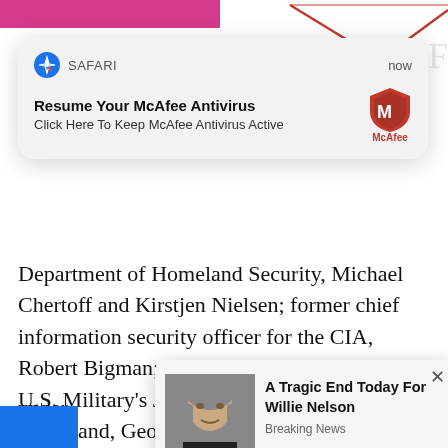[Figure (screenshot): Safari browser notification popup: 'Resume Your McAfee Antivirus — Click Here To Keep McAfee Antivirus Active' with McAfee shield logo, timestamp 'now']
Department of Homeland Security, Michael Chertoff and Kirstjen Nielsen; former chief information security officer for the CIA, Robert Bigman; and former member of the U.S. Military's Joint Special Operations Command, Geoff Hancock, among many others. Together, the national security states of both the U.S. and Israel have been steadily constructing an Orwellian nightmare in both countries, a nightmare that h[as rapidly accelerated] under[...] he coron[avirus pandemic...]
[Figure (screenshot): Ad popup with photo of Willie Nelson. Title: 'A Tragic End Today For Willie Nelson', Category: 'Breaking News'. Has X close button.]